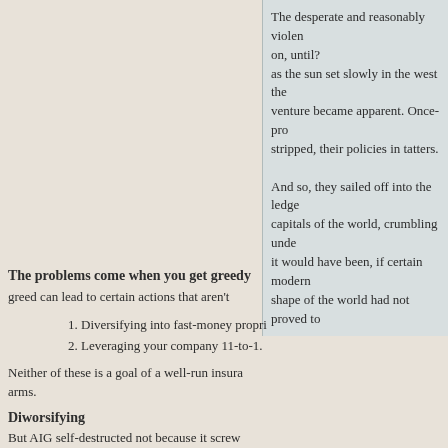The desperate and reasonably violent on, until?
as the sun set slowly in the west the venture became apparent. Once-pro stripped, their policies in tatters.

And so, they sailed off into the ledge capitals of the world, crumbling unde it would have been, if certain modern shape of the world had not proved to
The problems come when you get greedy
greed can lead to certain actions that aren't
1. Diversifying into fast-money propri
2. Leveraging your company 11-to-1.
Neither of these is a goal of a well-run insura arms.
Diworsifying
But AIG self-destructed not because it screw trap of mispricing risk, as so many other insu premiums fairly conservatively. So it followed